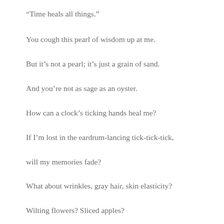“Time heals all things.”
You cough this pearl of wisdom up at me.
But it’s not a pearl; it’s just a grain of sand.
And you’re not as sage as an oyster.
How can a clock’s ticking hands heal me?
If I’m lost in the eardrum-lancing tick-tick-tick,
will my memories fade?
What about wrinkles, gray hair, skin elasticity?
Wilting flowers? Sliced apples?